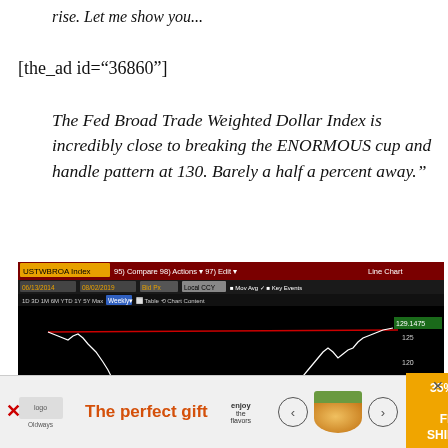rise. Let me show you...
[the_ad id="36860"]
The Fed Broad Trade Weighted Dollar Index is incredibly close to breaking the ENORMOUS cup and handle pattern at 130. Barely a half a percent away."
[Figure (continuous-plot): Bloomberg terminal screenshot showing USTWBROA Index (Fed Broad Trade Weighted Dollar Index) as a line chart, labeled 'Line Chart'. Shows weekly data from approximately 06/13/2014 to 08/02/2019. The chart has a black background with a white line showing price history forming a cup and handle pattern. A red resistance line is drawn near the top around 130. Current value shown as 129.1475. Y-axis labels: 125, 120, 115, 110, 105. Header bar shows: USTWBROA Index, 95) Compare, 98) Actions, 97) Edit, Line Chart, 06/13/2014, 08/02/2019, Bid Px, Local CCY, Mov Avg, Key Events, 1D 3D 1M 6M YTD 1Y 5Y Max Weekly, Table, Chart Content.]
[Figure (infographic): Advertisement banner: 'The perfect gift' with product images, navigation arrows, and '35% OFF + FREE SHIPPING' promotion in orange. Shows a bowl of food product. Logo in top left corner.]